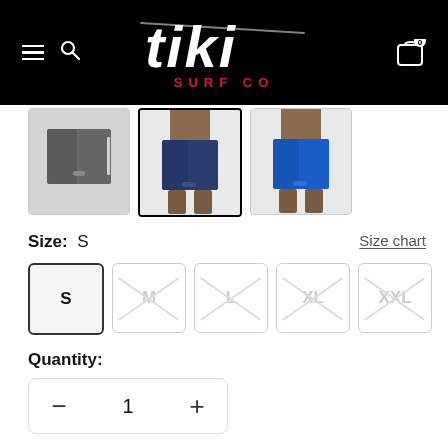[Figure (logo): Tiki Surf Co logo — white handwritten 'tiki' text with 'SURF CO' in red below, on black background header with hamburger menu, search icon, and cart icon with badge 0]
[Figure (photo): Three product thumbnail images of board shorts: dark gray shorts, navy blue shorts (selected/highlighted), and royal blue shorts]
Size:  S
Size chart
S  M  L  XL  XXL
Quantity:
1
Only 2 units left